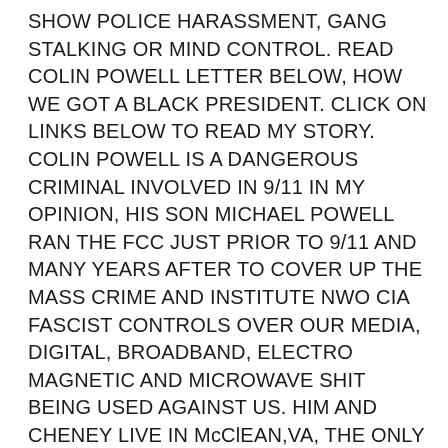SHOW POLICE HARASSMENT, GANG STALKING OR MIND CONTROL. READ COLIN POWELL LETTER BELOW, HOW WE GOT A BLACK PRESIDENT. CLICK ON LINKS BELOW TO READ MY STORY. COLIN POWELL IS A DANGEROUS CRIMINAL INVOLVED IN 9/11 IN MY OPINION, HIS SON MICHAEL POWELL RAN THE FCC JUST PRIOR TO 9/11 AND MANY YEARS AFTER TO COVER UP THE MASS CRIME AND INSTITUTE NWO CIA FASCIST CONTROLS OVER OUR MEDIA, DIGITAL, BROADBAND, ELECTRO MAGNETIC AND MICROWAVE SHIT BEING USED AGAINST US. HIM AND CHENEY LIVE IN McClEAN,VA, THE ONLY OTHER THING IN McCLEAN, VA IS THE CIA. I BELIEVE HE IS INVOLVED IN CIA MIND CONTROL, MASS SHOOTINGS AND EXPERIMENTATION,